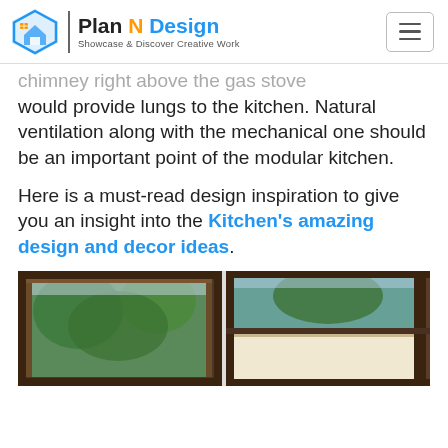Plan N Design — Showcase & Discover Creative Work
chimney right above the gas stove would provide lungs to the kitchen. Natural ventilation along with the mechanical one should be an important point of the modular kitchen.
Here is a must-read design inspiration to give you an insight into the Kitchen's amazing design and decor ideas.
[Figure (photo): Interior photo showing kitchen windows with wooden frames, view of trees outside, split into two panels side by side]